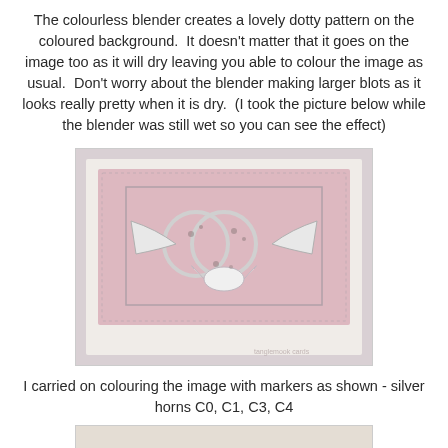The colourless blender creates a lovely dotty pattern on the coloured background.  It doesn't matter that it goes on the image too as it will dry leaving you able to colour the image as usual.  Don't worry about the blender making larger blots as it looks really pretty when it is dry.  (I took the picture below while the blender was still wet so you can see the effect)
[Figure (photo): A handmade greeting card with a pink watercolour background showing a wet blender effect with dotty pattern. The card features an embossed silver design of two intertwined rings with trumpets/horns and a bow with floral accents, set within a rectangular frame. Watermark reads 'tanglemook cards'.]
I carried on colouring the image with markers as shown - silver horns C0, C1, C3, C4
[Figure (photo): Bottom portion of another card image, partially visible, showing a light beige/cream background.]